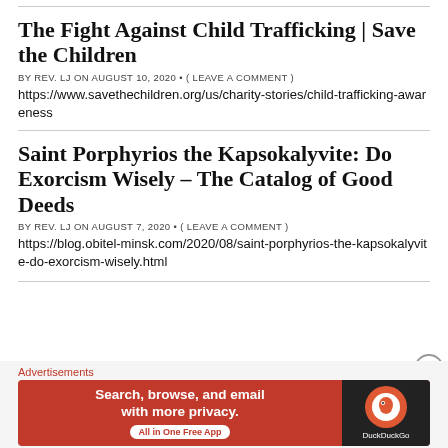The Fight Against Child Trafficking | Save the Children
BY REV. LJ ON AUGUST 10, 2020 • ( LEAVE A COMMENT )
https://www.savethechildren.org/us/charity-stories/child-trafficking-awareness
Saint Porphyrios the Kapsokalyvite: Do Exorcism Wisely – The Catalog of Good Deeds
BY REV. LJ ON AUGUST 7, 2020 • ( LEAVE A COMMENT )
https://blog.obitel-minsk.com/2020/08/saint-porphyrios-the-kapsokalyvite-do-exorcism-wisely.html
Advertisements
[Figure (infographic): DuckDuckGo advertisement banner: orange/red background with text 'Search, browse, and email with more privacy. All in One Free App' and DuckDuckGo logo on dark background.]